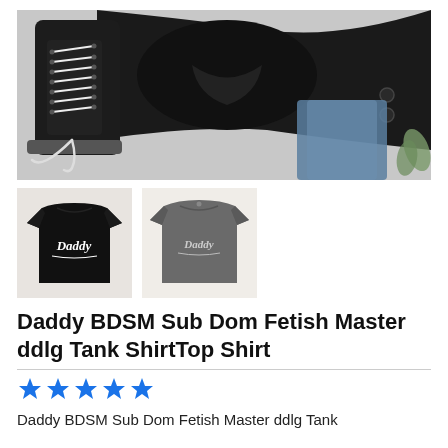[Figure (photo): Main product hero image showing black clothing items (tank top/shirt) laid flat with black Converse sneakers, denim jeans, and other accessories on a light background.]
[Figure (photo): Thumbnail 1: Black t-shirt with 'Daddy' text in Disney-style font printed in white on the front.]
[Figure (photo): Thumbnail 2: Gray t-shirt with 'Daddy' text in Disney-style font printed on the front, shown flat lay.]
Daddy BDSM Sub Dom Fetish Master ddlg Tank ShirtTop Shirt
[Figure (other): Five blue star rating icons]
Daddy BDSM Sub Dom Fetish Master ddlg Tank